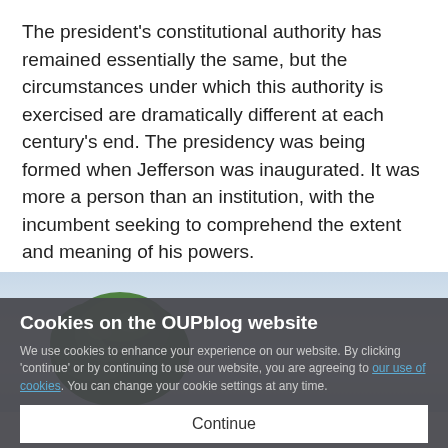The president's constitutional authority has remained essentially the same, but the circumstances under which this authority is exercised are dramatically different at each century's end. The presidency was being formed when Jefferson was inaugurated. It was more a person than an institution, with the incumbent seeking to comprehend the extent and meaning of his powers.
[Figure (photo): A photograph showing a large green tree against a light blue sky with clouds, cropped at the bottom of the visible area.]
Cookies on the OUPblog website
We use cookies to enhance your experience on our website. By clicking 'continue' or by continuing to use our website, you are agreeing to our use of cookies. You can change your cookie settings at any time.
Continue